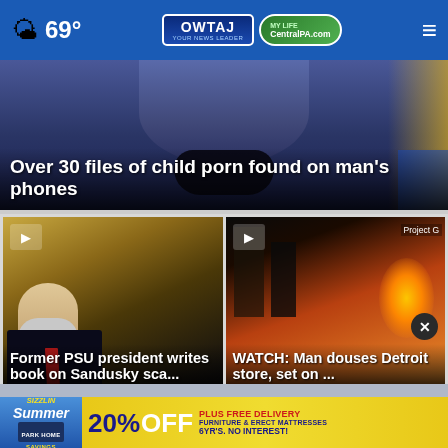69° OWTAJ CentralPA.com
[Figure (photo): Man with beard appearing in news story thumbnail, top story card]
Over 30 files of child porn found on man's phones
[Figure (photo): Former PSU president, older white male in dark suit with red tie, video thumbnail with play button]
Former PSU president writes book on Sandusky sca...
[Figure (photo): Fire engulfing a Detroit store, video thumbnail with play button and Project G watermark]
WATCH: Man douses Detroit store, set on ...
[Figure (infographic): Advertisement banner: Sizzlin Summer Savings, Park Home, 20% OFF PLUS FREE DELIVERY Furniture & Erect Mattresses 6yr's. No Interest!]